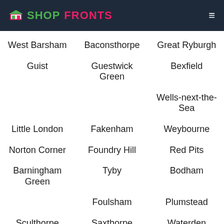SHOPFRONTS
West Barsham
Baconsthorpe
Great Ryburgh
Guist
Guestwick Green
Bexfield
Wells-next-the-Sea
Little London
Fakenham
Weybourne
Norton Corner
Foundry Hill
Red Pits
Barningham Green
Tyby
Bodham
Foulsham
Plumstead
Sculthorpe
Saxthorpe
Waterden